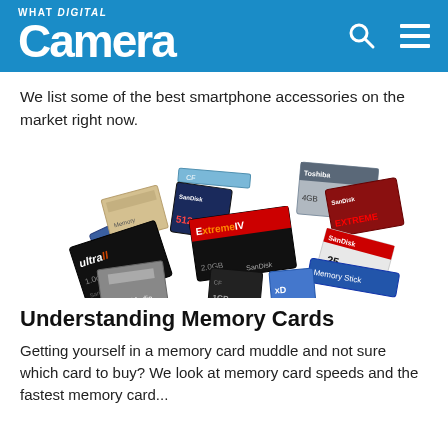WHAT DIGITAL Camera
We list some of the best smartphone accessories on the market right now.
[Figure (photo): A pile of various memory cards including SD cards, CompactFlash, SanDisk Ultra, Extreme, and other brands scattered together]
Understanding Memory Cards
Getting yourself in a memory card muddle and not sure which card to buy? We look at memory card speeds and the fastest memory card...